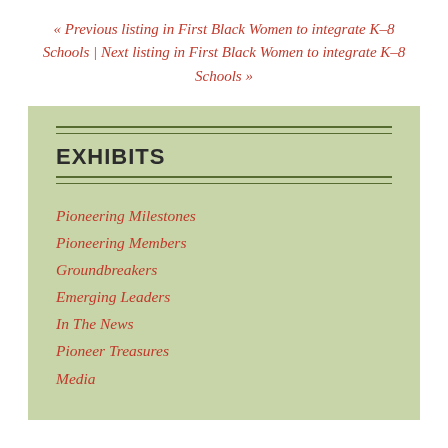« Previous listing in First Black Women to integrate K–8 Schools | Next listing in First Black Women to integrate K–8 Schools »
EXHIBITS
Pioneering Milestones
Pioneering Members
Groundbreakers
Emerging Leaders
In The News
Pioneer Treasures
Media